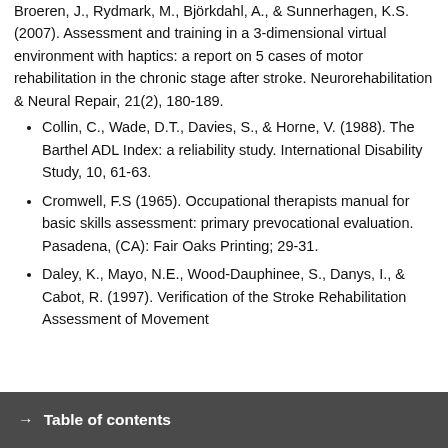Broeren, J., Rydmark, M., Björkdahl, A., & Sunnerhagen, K.S. (2007). Assessment and training in a 3-dimensional virtual environment with haptics: a report on 5 cases of motor rehabilitation in the chronic stage after stroke. Neurorehabilitation & Neural Repair, 21(2), 180-189.
Collin, C., Wade, D.T., Davies, S., & Horne, V. (1988). The Barthel ADL Index: a reliability study. International Disability Study, 10, 61-63.
Cromwell, F.S (1965). Occupational therapists manual for basic skills assessment: primary prevocational evaluation. Pasadena, (CA): Fair Oaks Printing; 29-31.
Daley, K., Mayo, N.E., Wood-Dauphinee, S., Danys, I., & Cabot, R. (1997). Verification of the Stroke Rehabilitation Assessment of Movement
→ Table of contents